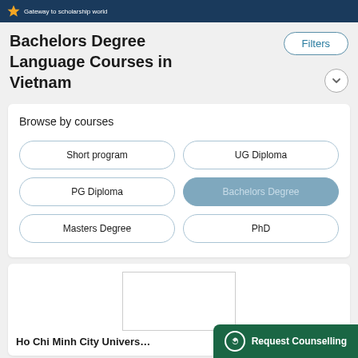Gateway to scholarship world
Bachelors Degree
Language Courses in Vietnam
Filters
Browse by courses
Short program
UG Diploma
PG Diploma
Bachelors Degree
Masters Degree
PhD
[Figure (photo): University image placeholder (empty white rectangle with border)]
Ho Chi Minh City Univers…
Request Counselling